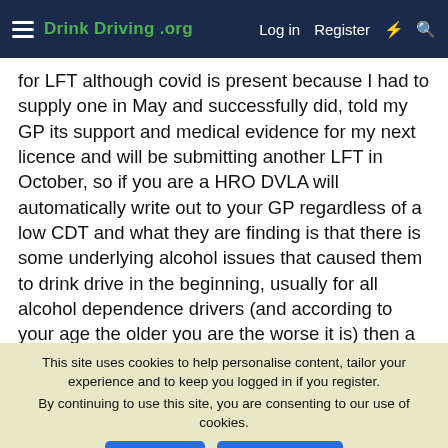Drink Driving .org — Log in  Register
for LFT although covid is present because I had to supply one in May and successfully did, told my GP its support and medical evidence for my next licence and will be submitting another LFT in October, so if you are a HRO DVLA will automatically write out to your GP regardless of a low CDT and what they are finding is that there is some underlying alcohol issues that caused them to drink drive in the beginning, usually for all alcohol dependence drivers (and according to your age the older you are the worse it is) then a 1 year period review licence is issued until your next medical takes place, and then another 1 year licence is granted upto a total of six years, if you are lucky enough to have a 3/5 year licence issued then LFTs are neccessary to show your medical evidence and that you are conforming to
This site uses cookies to help personalise content, tailor your experience and to keep you logged in if you register.
By continuing to use this site, you are consenting to our use of cookies.